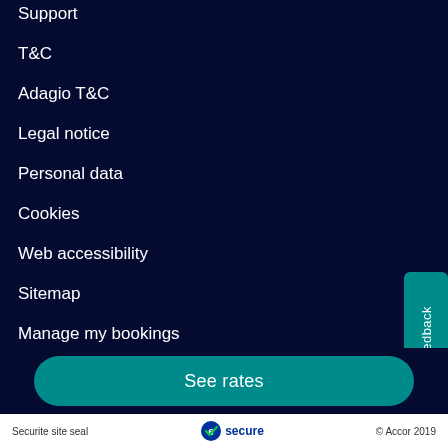Support
T&C
Adagio T&C
Legal notice
Personal data
Cookies
Web accessibility
Sitemap
Manage my bookings
Sustainable development
Accor Group
See rates
Securite site seal   secure   © Accor 2019